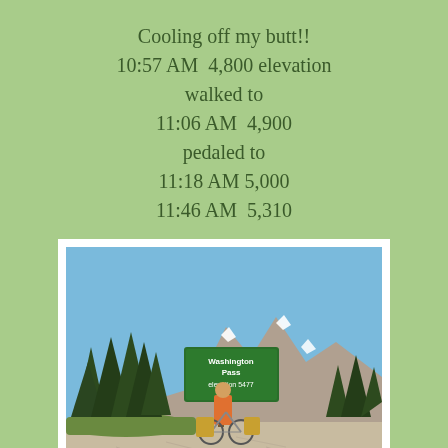Cooling off my butt!!
10:57 AM  4,800 elevation
walked to
11:06 AM  4,900
pedaled to
11:18 AM 5,000
11:46 AM  5,310
[Figure (photo): Outdoor photo at Washington Pass elevation 5477 sign. A cyclist with orange jacket stands next to a green road sign reading 'Washington Pass elevation 5477'. Tall evergreen trees on the left, rocky mountain peaks with snow patches in the background, gravel road in foreground, clear blue sky.]
12:04 PM  5,477 elevation!!!